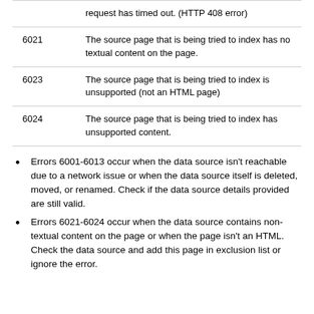| Code | Description |
| --- | --- |
|  | request has timed out. (HTTP 408 error) |
| 6021 | The source page that is being tried to index has no textual content on the page. |
| 6023 | The source page that is being tried to index is unsupported (not an HTML page) |
| 6024 | The source page that is being tried to index has unsupported content. |
Errors 6001-6013 occur when the data source isn't reachable due to a network issue or when the data source itself is deleted, moved, or renamed. Check if the data source details provided are still valid.
Errors 6021-6024 occur when the data source contains non-textual content on the page or when the page isn't an HTML. Check the data source and add this page in exclusion list or ignore the error.